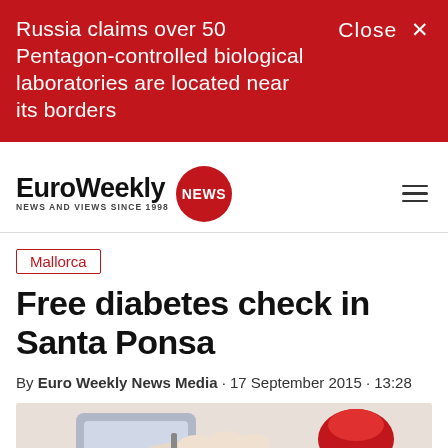Russia claims over 50 Pentagon-controlled biological laboratories are located near its borders
Close ×
[Figure (logo): EuroWeekly NEWS logo — bold text 'EuroWeekly' with red circle containing 'NEWS' and subtitle 'NEWS AND VIEWS SINCE 1998']
Mallorca
Free diabetes check in Santa Ponsa
By Euro Weekly News Media · 17 September 2015 · 13:28
[Figure (photo): Photo of hands performing a diabetes blood sugar check with a glucometer and red cap]